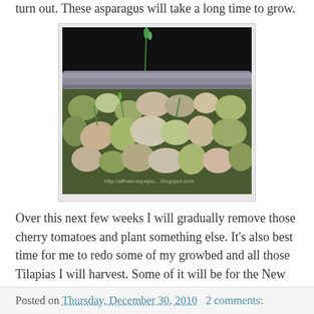turn out. These asparagus will take a long time to grow.
[Figure (photo): Close-up photo of asparagus crowns (roots) with small green shoots growing among smooth river rocks/pebbles in what appears to be an aquaponics grow bed. A grey PVC pipe is visible in the upper portion. A watermark reads http://affnan-aquapo...blogspot.com]
Over this next few weeks I will gradually remove those cherry tomatoes and plant something else. It's also best time for me to redo some of my growbed and all those Tilapias I will harvest. Some of it will be for the New Year's BBQ and few more I'll be making it into traditional Malay pickle.
I'm thinking of making a video of the pickling process.. :)
Posted on Thursday, December 30, 2010   2 comments: